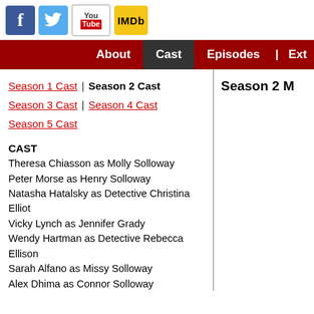[Figure (logo): Social media icons: Facebook, Twitter, YouTube, IMDb]
About | Cast | Episodes | Ext...
Season 1 Cast | Season 2 Cast
Season 3 Cast | Season 4 Cast
Season 5 Cast
CAST
Theresa Chiasson as Molly Solloway
Peter Morse as Henry Solloway
Natasha Hatalsky as Detective Christina Elliot
Vicky Lynch as Jennifer Grady
Wendy Hartman as Detective Rebecca Ellison
Sarah Alfano as Missy Solloway
Alex Dhima as Connor Solloway
Christopher Ferreira as Aaron
Mary Paolino as Dolores
John Samela as Chief Alexander Hudson
Paula Dellatte as D.A. Cheryl Waller
Alex Pires as Officer Randal Holmes
Marie Brandt as Detective Lanetello
Lisa J. Coleman Hatsy as Kathy
Gio Castellano as Davis
Season 2 M...